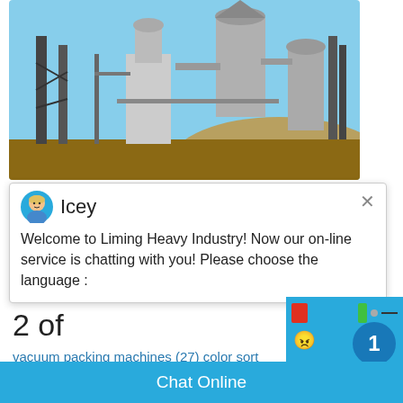[Figure (photo): Industrial heavy machinery/mill equipment with silos and steel framework outdoors with hills in background]
[Figure (screenshot): Chat popup from Liming Heavy Industry with avatar named Icey. Message: Welcome to Liming Heavy Industry! Now our on-line service is chatting with you! Please choose the language :]
2 of
vacuum packing machines (27) color sort (24) moisture meters (15) mill grinders m coffee processing machines (18) cocoa pr machines (14) cocoa refiner (5) huller hu
Chat Online
cywaitml @gmail.com
[Figure (screenshot): Right panel with blue background, angry face emoji, number bubble showing 1, Click me to chat button, Enquiry button, and cywaitml@gmail.com email]